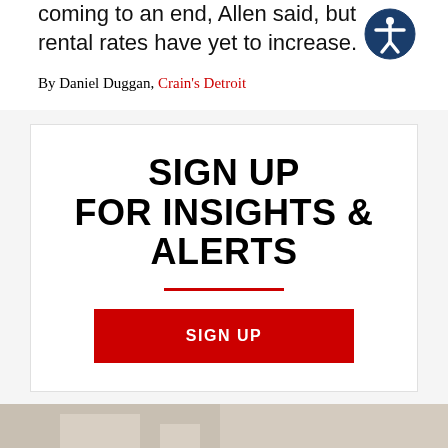coming to an end, Allen said, but rental rates have yet to increase.
By Daniel Duggan, Crain's Detroit
SIGN UP FOR INSIGHTS & ALERTS
SIGN UP
[Figure (photo): Bottom strip showing interior photo, partially visible]